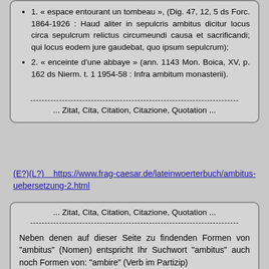1. « espace entourant un tombeau », (Dig. 47, 12, 5 ds Forc. 1864-1926 : Haud aliter in sepulcris ambitus dicitur locus circa sepulcrum relictus circumeundi causa et sacrificandi; qui locus eodem jure gaudebat, quo ipsum sepulcrum);
2. « enceinte d'une abbaye » (ann. 1143 Mon. Boica, XV, p. 162 ds Nierm. t. 1 1954-58 : Infra ambitum monasterii).
... Zitat, Cita, Citation, Citazione, Quotation ...
(E?)(L?)    https://www.frag-caesar.de/lateinwoerterbuch/ambitus-uebersetzung-2.html
... Zitat, Cita, Citation, Citazione, Quotation ...
Neben denen auf dieser Seite zu findenden Formen von "ambitus" (Nomen) entspricht Ihr Suchwort "ambitus" auch noch Formen von: "ambire" (Verb im Partizip)